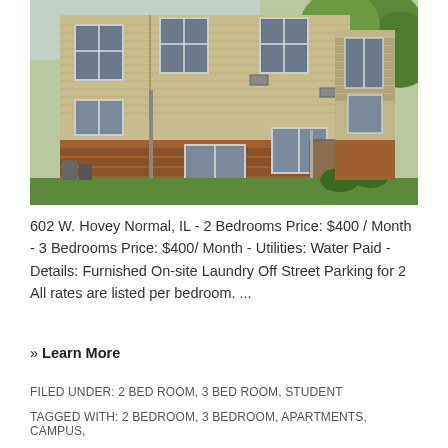[Figure (photo): Exterior photo of a two-story apartment building with tan/beige vinyl siding and brick foundation, showing multiple windows and a green lawn with trees]
602 W. Hovey Normal, IL - 2 Bedrooms Price: $400 / Month - 3 Bedrooms Price: $400/ Month - Utilities: Water Paid - Details: Furnished On-site Laundry Off Street Parking for 2 All rates are listed per bedroom. ...
» Learn More
FILED UNDER: 2 BED ROOM, 3 BED ROOM, STUDENT
TAGGED WITH: 2 BEDROOM, 3 BEDROOM, APARTMENTS, CAMPUS,